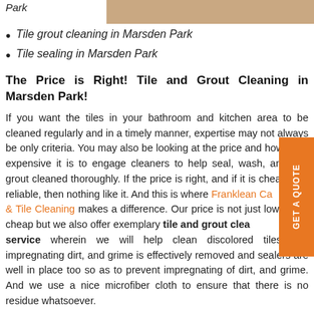Park
[Figure (photo): Tile/stone flooring texture in beige/tan tones]
Tile grout cleaning in Marsden Park
Tile sealing in Marsden Park
The Price is Right! Tile and Grout Cleaning in Marsden Park!
If you want the tiles in your bathroom and kitchen area to be cleaned regularly and in a timely manner, expertise may not always be only criteria. You may also be looking at the price and how cheap expensive it is to engage cleaners to help seal, wash, and have grout cleaned thoroughly. If the price is right, and if it is cheap also reliable, then nothing like it. And this is where Franklean Ca & Tile Cleaning makes a difference. Our price is not just low-p and cheap but we also offer exemplary tile and grout clea service wherein we will help clean discolored tiles, the impregnating dirt, and grime is effectively removed and sealers are well in place too so as to prevent impregnating of dirt, and grime. And we use a nice microfiber cloth to ensure that there is no residue whatsoever.
Emergency Tile Cleaning Services in the